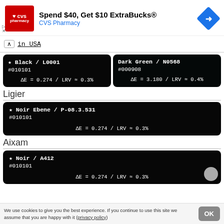[Figure (screenshot): CVS Pharmacy advertisement banner: logo, 'Spend $40, Get $10 ExtraBucks® CVS Pharmacy', navigation icon]
in USA (collapsed/chevron bar)
| ★ Black / L0001
#010101
ΔE = 0.274 / LRV ≈ 0.3% | Dark Green / N0568
#000908
ΔE = 3.180 / LRV ≈ 0.4% |
Ligier
★ Noir Ebene / P-08.3.531
#010101
ΔE = 0.274 / LRV ≈ 0.3%
Aixam
★ Noir / A412
#010101
ΔE = 0.274 / LRV ≈ 0.3%
We use cookies to give you the best experience. If you continue to use this site we assume that you are happy with it (privacy policy)